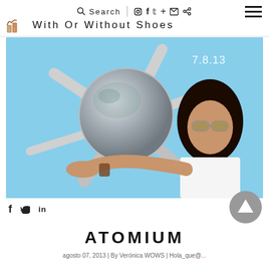Search | With Or Without Shoes
[Figure (photo): Woman posing in front of the Atomium structure in Brussels, holding her hand out as if balancing the sphere. Date overlay reads 7.8.13]
f  t  in
ATOMIUM
agosto 07, 2013 | By Verónica WOWS | Hola_que@...